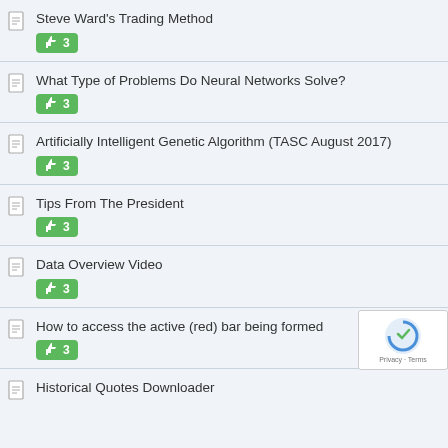Steve Ward's Trading Method | 3 likes
What Type of Problems Do Neural Networks Solve? | 3 likes
Artificially Intelligent Genetic Algorithm (TASC August 2017) | 3 likes
Tips From The President | 3 likes
Data Overview Video | 3 likes
How to access the active (red) bar being formed | 3 likes
Historical Quotes Downloader